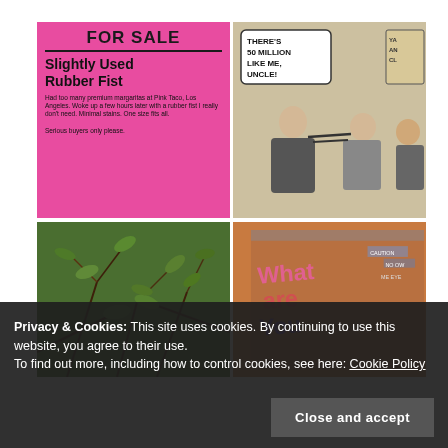[Figure (photo): Pink flyer taped to a pole reading FOR SALE - Slightly Used Rubber Fist with descriptive text below]
[Figure (illustration): Vintage comic strip panel showing figures with speech bubble reading THERE'S 50 MILLION LIKE ME, UNCLE!]
[Figure (photo): Outdoor photo of green plants and vines growing densely]
[Figure (photo): Street mural on a building saying What are You with colorful graffiti lettering]
Privacy & Cookies: This site uses cookies. By continuing to use this website, you agree to their use.
To find out more, including how to control cookies, see here: Cookie Policy
Close and accept